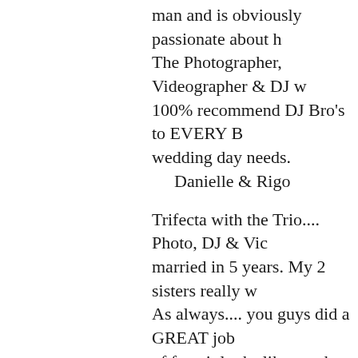man and is obviously passionate about h... The Photographer, Videographer & DJ w... 100% recommend DJ Bro's to EVERY B... wedding day needs.
    Danielle & Rigo
Trifecta with the Trio.... Photo, DJ & Vic... married in 5 years. My 2 sisters really w... As always.... you guys did a GREAT job... of fact, it looks like you have some of ou... making it soooo easy!
    Shelly & Danny
I was very impress by the quality and ser... wedding pictures, but we  used their DJ s... of fun.  I was highly satisfied with their s...
    Melissa & Elvis
Awesome!  We loved working with DJ B...